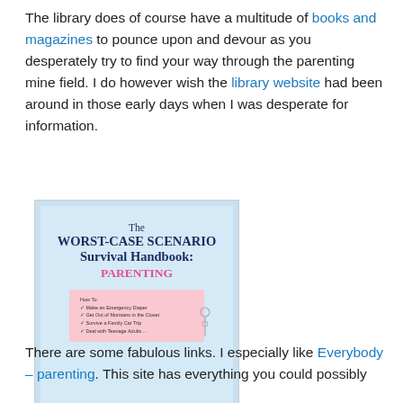The library does of course have a multitude of books and magazines to pounce upon and devour as you desperately try to find your way through the parenting mine field. I do however wish the library website had been around in those early days when I was desperate for information.
[Figure (photo): Book cover of 'The Worst-Case Scenario Survival Handbook: PARENTING' with a light blue background, pink notecard with bullet points, and a safety pin.]
There are some fabulous links. I especially like Everybody – parenting. This site has everything you could possibly